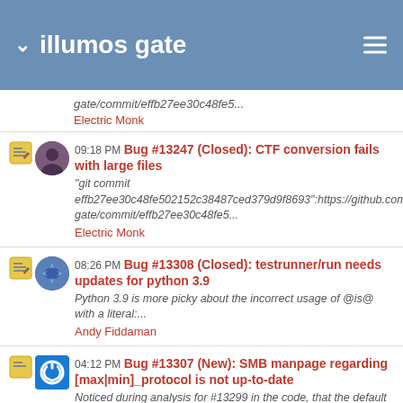illumos gate
gate/commit/effb27ee30c48fe5...
Electric Monk
09:18 PM Bug #13247 (Closed): CTF conversion fails with large files
"git commit effb27ee30c48fe502152c38487ced379d9f8693":https://github.com gate/commit/effb27ee30c48fe5...
Electric Monk
08:26 PM Bug #13308 (Closed): testrunner/run needs updates for python 3.9
Python 3.9 is more picky about the incorrect usage of @is@ with a literal:...
Andy Fiddaman
04:12 PM Bug #13307 (New): SMB manpage regarding [max|min]_protocol is not up-to-date
Noticed during analysis for #13299 in the code, that the default